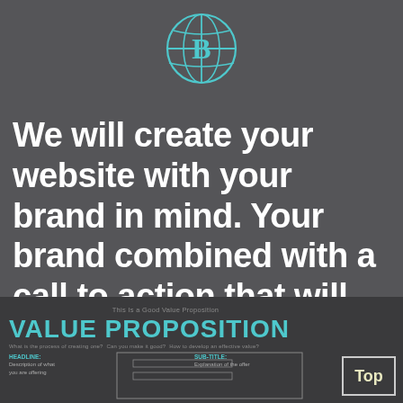[Figure (logo): Circular logo with 'B' letter inside a globe/circle design, rendered in teal/cyan outline style]
We will create your website with your brand in mind.  Your brand combined with a call to action that will help you sell your vision or products to your customers.
[Figure (infographic): Value Proposition diagram section showing 'This Is a Good Value Proposition' label above large teal 'VALUE PROPOSITION' text, with sub-labels 'What is the process of creating one?', 'Can you make it good?', 'How to develop an effective value?', and a template diagram showing HEADLINE and SUB-TITLE fields]
Top